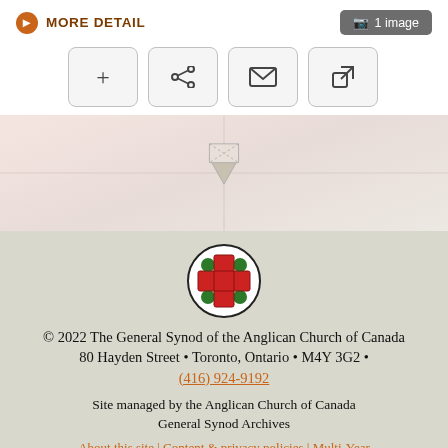MORE DETAIL   1 image
[Figure (screenshot): Four icon buttons: plus, share, email, external link]
[Figure (map): Map background with location marker]
[Figure (logo): Anglican Church of Canada General Synod logo - circular emblem with red cross and green maple leaves]
© 2022 The General Synod of the Anglican Church of Canada
80 Hayden Street • Toronto, Ontario • M4Y 3G2 •
(416) 924-9192
Site managed by the Anglican Church of Canada General Synod Archives
About this site | Content & privacy policies | Multi-Year